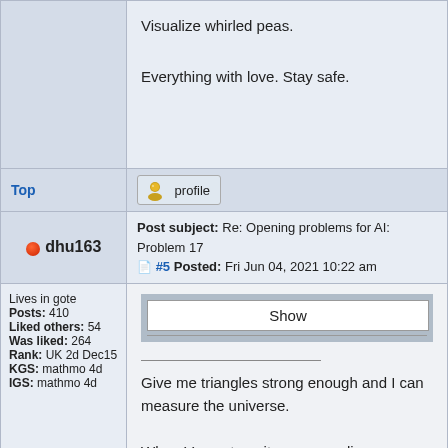Visualize whirled peas.

Everything with love. Stay safe.
Top
profile
Post subject: Re: Opening problems for AI: Problem 17 #5 Posted: Fri Jun 04, 2021 10:22 am
dhu163
Lives in gote
Posts: 410
Liked others: 54
Was liked: 264
Rank: UK 2d Dec15
KGS: mathmo 4d
IGS: mathmo 4d
Show
Give me triangles strong enough and I can measure the universe.

When Venus transits, we can align our clocks to one event. By measuring the angle to flat Earth at two places far apart on Earth, we can compute the distance to Venus and the Sun.